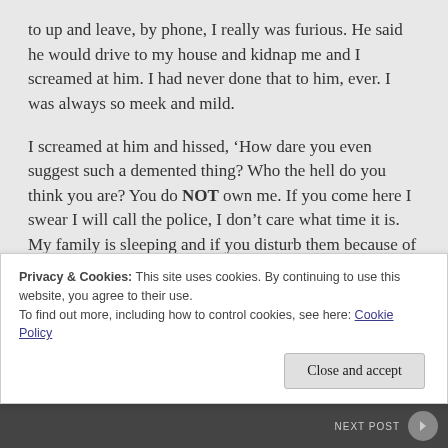to up and leave, by phone, I really was furious. He said he would drive to my house and kidnap me and I screamed at him. I had never done that to him, ever. I was always so meek and mild.
I screamed at him and hissed, ‘How dare you even suggest such a demented thing? Who the hell do you think you are? You do NOT own me. If you come here I swear I will call the police, I don’t care what time it is. My family is sleeping and if you disturb them because of your own selfish and manipulative ways I swear I will make your life horrible. Leave me alone. LEAVE ME ALONE.’
Privacy & Cookies: This site uses cookies. By continuing to use this website, you agree to their use. To find out more, including how to control cookies, see here: Cookie Policy
Close and accept